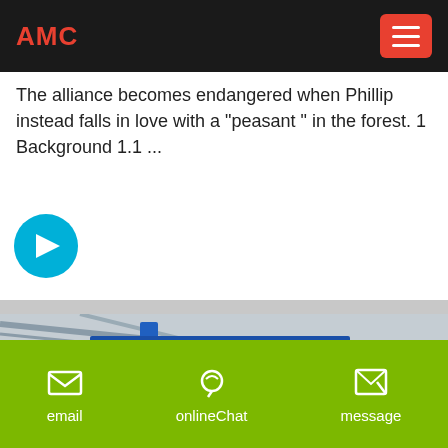AMC
The alliance becomes endangered when Phillip instead falls in love with a "peasant " in the forest. 1 Background 1.1 ...
[Figure (illustration): Cyan circle with white right-arrow icon (navigation button)]
[Figure (photo): Industrial factory interior with large gray cylindrical grinding mill machine, blue overhead structures, colorful flags/banners, workers in hard hats visible in background]
email   onlineChat   message